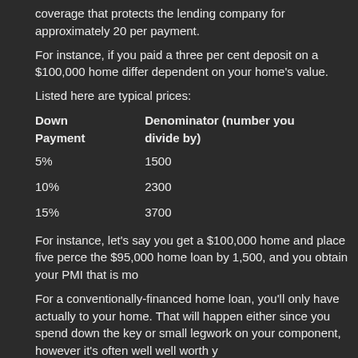coverage that protects the lending company for approximately 20 per payment.
For instance, if you paid a three per cent deposit on a $100,000 home differ dependent on your home's value.
Listed here are typical prices:
| Down Payment | Denominator (number you divide by) |
| --- | --- |
| 5% | 1500 |
| 10% | 2300 |
| 15% | 3700 |
For instance, let's say you get a $100,000 home and place five perce the $95,000 home loan by 1,500, and you obtain your PMI that is mo
For a conventionally-financed home loan, you'll only have actually to your home. That will happen either since you spend down the key or small legwork on your component, however it's often well well worth y
With FHA mortgages, but, you're required to spend PMI when it come worth that is' of re re payments. That's about $22,680! To leave of it, y costs — when you've got 80 equity that is percent your property.
Clearly, it is good to eradicate PMI when you are able. Nonetheless it